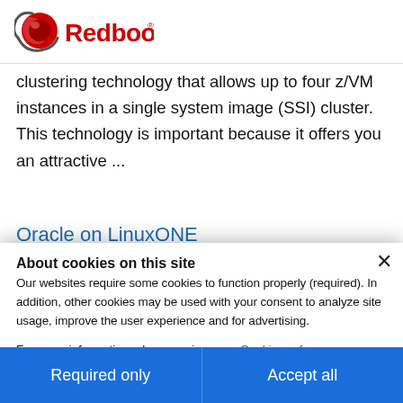[Figure (logo): IBM Redbooks logo with red sphere icon and bold red 'Redbooks' text]
clustering technology that allows up to four z/VM instances in a single system image (SSI) cluster. This technology is important because it offers you an attractive ...
Oracle on LinuxONE
8 Aug 2018 Redbooks Oracle Database 12c points
About cookies on this site
Our websites require some cookies to function properly (required). In addition, other cookies may be used with your consent to analyze site usage, improve the user experience and for advertising.
For more information, please review your Cookie preferences options and IBM's privacy statement.
Required only
Accept all